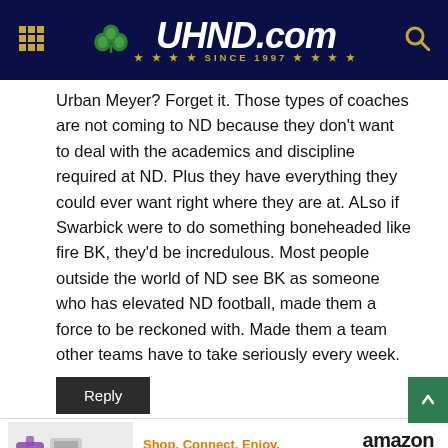UHND.com — Since 1997
Urban Meyer? Forget it. Those types of coaches are not coming to ND because they don't want to deal with the academics and discipline required at ND. Plus they have everything they could ever want right where they are at. ALso if Swarbick were to do something boneheaded like fire BK, they'd be incredulous. Most people outside the world of ND see BK as someone who has elevated ND football, made them a force to be reckoned with. Made them a team other teams have to take seriously every week.
[Figure (screenshot): Reply button (dark background, white text)]
[Figure (infographic): Amazon advertisement banner: Shop. Connect. Enjoy. Shop now — amazon with smile logo, Privacy label]